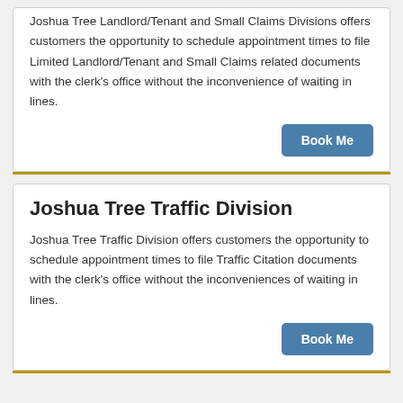Joshua Tree Landlord/Tenant and Small Claims Divisions offers customers the opportunity to schedule appointment times to file Limited Landlord/Tenant and Small Claims related documents with the clerk's office without the inconvenience of waiting in lines.
Book Me
Joshua Tree Traffic Division
Joshua Tree Traffic Division offers customers the opportunity to schedule appointment times to file Traffic Citation documents with the clerk's office without the inconveniences of waiting in lines.
Book Me